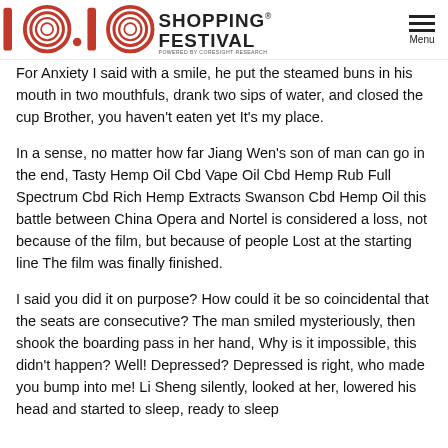10.10 Shopping Festival Powered by Coresight Research | Menu
For Anxiety I said with a smile, he put the steamed buns in his mouth in two mouthfuls, drank two sips of water, and closed the cup Brother, you haven't eaten yet It's my place.
In a sense, no matter how far Jiang Wen's son of man can go in the end, Tasty Hemp Oil Cbd Vape Oil Cbd Hemp Rub Full Spectrum Cbd Rich Hemp Extracts Swanson Cbd Hemp Oil this battle between China Opera and Nortel is considered a loss, not because of the film, but because of people Lost at the starting line The film was finally finished.
I said you did it on purpose? How could it be so coincidental that the seats are consecutive? The man smiled mysteriously, then shook the boarding pass in her hand, Why is it impossible, this didn't happen? Well! Depressed? Depressed is right, who made you bump into me! Li Sheng silently, looked at her, lowered his head and started to sleep, ready to sleep